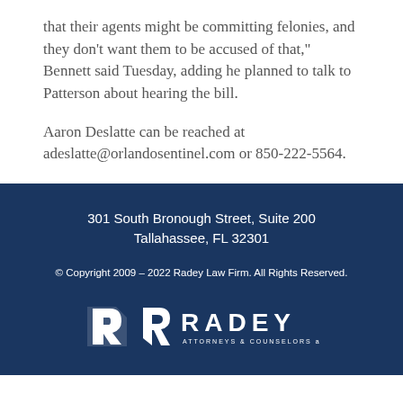that their agents might be committing felonies, and they don't want them to be accused of that," Bennett said Tuesday, adding he planned to talk to Patterson about hearing the bill.
Aaron Deslatte can be reached at adeslatte@orlandosentinel.com or 850-222-5564.
301 South Bronough Street, Suite 200
Tallahassee, FL 32301
© Copyright 2009 – 2022 Radey Law Firm. All Rights Reserved.
RADEY ATTORNEYS & COUNSELORS at LAW